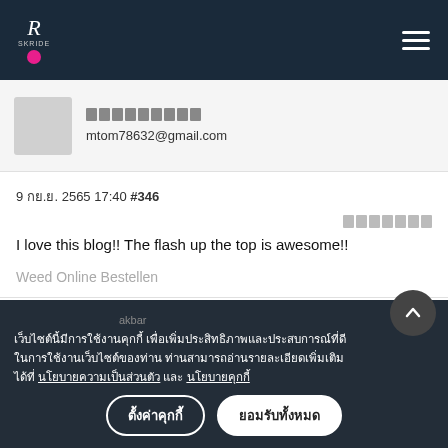R SKRIDE logo, hamburger menu
mtom78632@gmail.com
9 กย. 2565 17:40 #346
I love this blog!! The flash up the top is awesome!!
Weed Online Bestellen
เว็บไซต์นี้มีการใช้งานคุกกี้ เพื่อเพิ่มประสิทธิภาพและประสบการณ์ที่ดีในการใช้งานเว็บไซต์ของท่าน ท่านสามารถอ่านรายละเอียดเพิ่มเติมได้ที่ นโยบายความเป็นส่วนตัว และ นโยบายคุกกี้
ตั้งค่าคุกกี้ | ยอมรับทั้งหมด